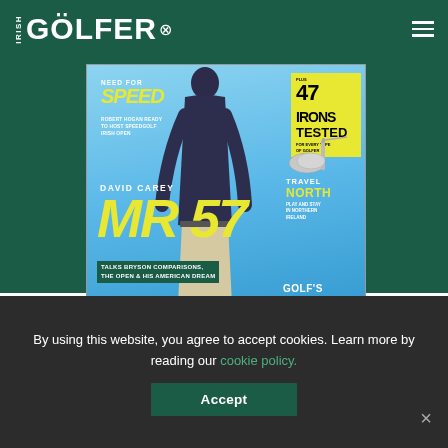IRISH GOLFER
[Figure (photo): Irish Golfer magazine cover 2022/7 edition featuring David Carey (Mr 57) on the cover, with headlines about 47 irons tested, Travel North, Golf's Undeclared War, and LIV golf commentary.]
2022/7 EDITION
By using this website, you agree to accept cookies. Learn more by reading our cookie policy.